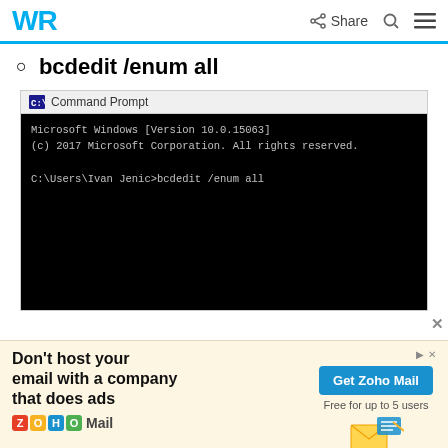WR | Share
bcdedit /enum all
[Figure (screenshot): Command Prompt window showing: 'Microsoft Windows [Version 10.0.15063]
(c) 2017 Microsoft Corporation. All rights reserved.

C:\Users\Ivan Jenic>bcdedit /enum all']
Don't host your email with a company that does ads | Get Zoho Mail | Free for up to 5 users | ZOHO Mail